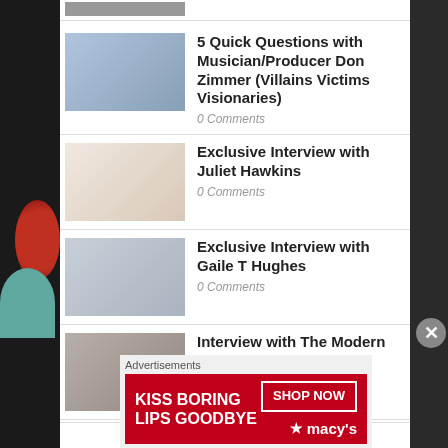[Figure (photo): Small thumbnail image at top, partial view]
5 Quick Questions with Musician/Producer Don Zimmer (Villains Victims Visionaries)
0 Comments
Exclusive Interview with Juliet Hawkins
0 Comments
Exclusive Interview with Gaile T Hughes
0 Comments
Interview with The Modern Gentleman
0 Comments
Advertisements
[Figure (photo): Macy's advertisement banner: KISS BORING LIPS GOODBYE with SHOP NOW button and Macy's logo]